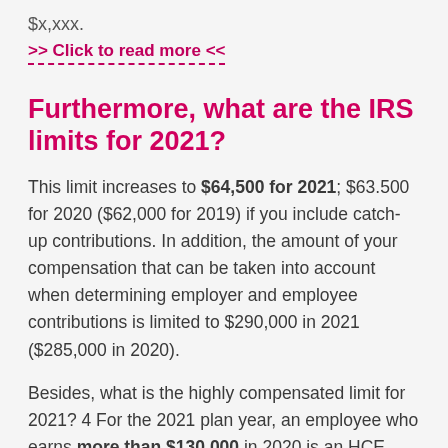$X,XXX
>> Click to read more <<
Furthermore, what are the IRS limits for 2021?
This limit increases to $64,500 for 2021; $63.500 for 2020 ($62,000 for 2019) if you include catch-up contributions. In addition, the amount of your compensation that can be taken into account when determining employer and employee contributions is limited to $290,000 in 2021 ($285,000 in 2020).
Besides, what is the highly compensated limit for 2021? 4 For the 2021 plan year, an employee who earns more than $130,000 in 2020 is an HCE. For